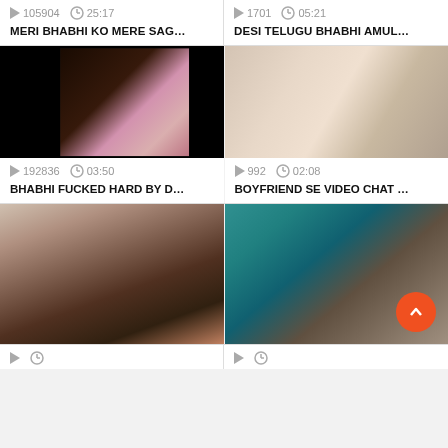[Figure (screenshot): Top partial row: two video thumbnails with play/clock icons, view counts, durations, and titles. Left: 105904 views, 25:17, MERI BHABHI KO MERE SAG... Right: 1701 views, 05:21, DESI TELUGU BHABHI AMUL...]
[Figure (screenshot): Middle left video card: black background with small video thumbnail, 192836 views, 03:50 duration, title: BHABHI FUCKED HARD BY D...]
[Figure (screenshot): Middle right video card: close-up thumbnail, 992 views, 02:08 duration, title: BOYFRIEND SE VIDEO CHAT ...]
[Figure (screenshot): Bottom left video card: thumbnail showing person with phone]
[Figure (screenshot): Bottom right video card: thumbnail with orange FAB scroll-to-top button overlay]